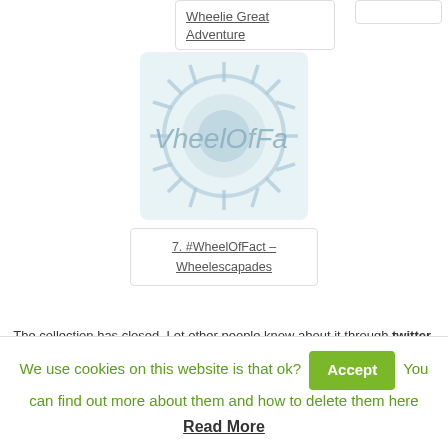Wheelie Great Adventure
[Figure (illustration): A circular wheel/gear-like logo with spokes, light blue color, with italic text 'WheelOfFa' visible across the center]
7. #WheelOfFact – Wheelescapades
The collection has closed. Let other people know about it through twitter.
We use cookies on this website is that ok? Accept You can find out more about them and how to delete them here Read More